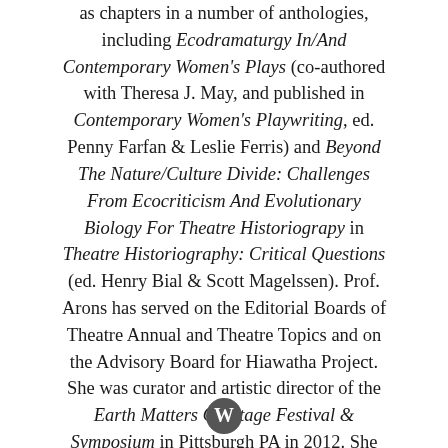as chapters in a number of anthologies, including Ecodramaturgy In/And Contemporary Women's Plays (co-authored with Theresa J. May, and published in Contemporary Women's Playwriting, ed. Penny Farfan & Leslie Ferris) and Beyond The Nature/Culture Divide: Challenges From Ecocriticism And Evolutionary Biology For Theatre Historiograpy in Theatre Historiography: Critical Questions (ed. Henry Bial & Scott Magelssen). Prof. Arons has served on the Editorial Boards of Theatre Annual and Theatre Topics and on the Advisory Board for Hiawatha Project. She was curator and artistic director of the Earth Matters On Stage Festival & Symposium in Pittsburgh PA in 2012. She writes regularly about theater and culture in her blog, The Pittsburgh Tatler
[Figure (logo): WordPress logo icon at the bottom center of the page]